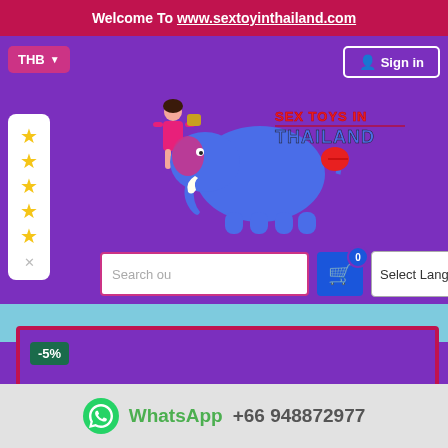Welcome To www.sextoyinthailand.com
THB
Sign in
[Figure (logo): Sex Toys in Thailand logo with elephant and woman figure]
★ ★ ★ ★ ★ (star rating panel)
Search ou
0 (cart badge)
Select Language
-5%
WhatsApp  +66 948872977